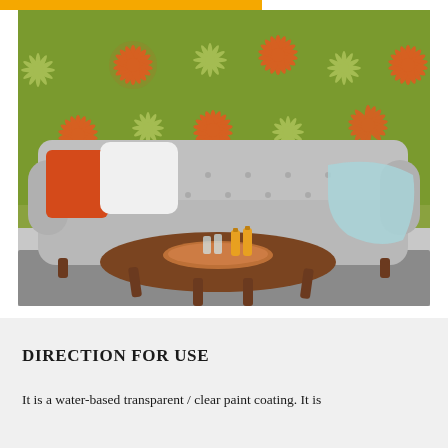[Figure (photo): Interior living room scene with a grey mid-century modern sofa, orange and white throw pillows, a light blue blanket draped on one arm, a walnut oval coffee table with a copper tray holding glasses and orange juice bottles, a grey rug, and a green wallpaper with orange and white floral/sunburst patterns in the background.]
DIRECTION FOR USE
It is a water-based transparent / clear paint coating. It is